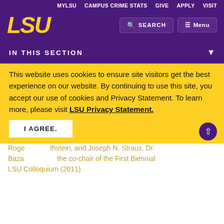MYLSU | CAMPUS CRIME STATS | GIVE | APPLY | VISIT
[Figure (logo): LSU logo in gold italic bold text on purple background]
SEARCH | Menu
IN THIS SECTION
that promotes scholarship, pedagogy, and professional development workshops in music theory, performance, and music education. Conferences had over attendees. We are invited guest speakers. Simon Morrison, Lynne Rogers, Goldstein, and Joseph N. Straus. Dr. Bazayev the co-chair of the First Biennial LSU Colloquium (2011)
This website uses cookies to ensure site visitors get the best experience on our website. By continuing to use this site, you accept our use of cookies and Privacy Statement. To learn more, please visit LSU Privacy Statement.
I AGREE.